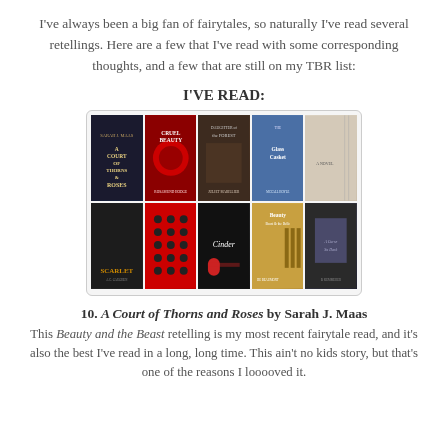I've always been a big fan of fairytales, so naturally I've read several retellings.  Here are a few that I've read with some corresponding thoughts, and a few that are still on my TBR list:
I'VE READ:
[Figure (photo): A collage of 10 book covers arranged in 2 rows of 5, including A Court of Thorns and Roses, Cruel Beauty, Daughter of the Forest, The Glass Casket, and others. Second row includes Scarlet, The Lunar Chronicles, Cinder, Beauty, and another book.]
10. A Court of Thorns and Roses by Sarah J. Maas
This Beauty and the Beast retelling is my most recent fairytale read, and it's also the best I've read in a long, long time.  This ain't no kids story, but that's one of the reasons I looooved it.